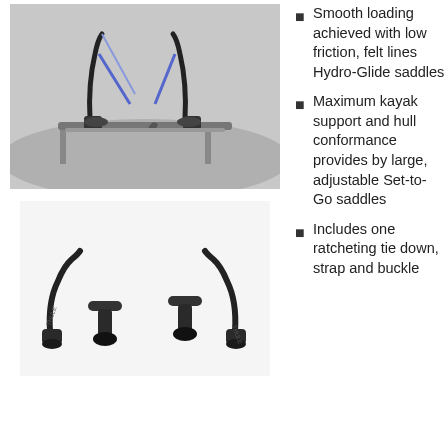[Figure (photo): Thule kayak carrier mounted on car roof rack with two sets of saddles and blue straps]
[Figure (photo): Four Thule kayak saddle components shown on white background — two folded carrier arms and two Set-to-Go saddles]
Smooth loading achieved with low friction, felt lines Hydro-Glide saddles
Maximum kayak support and hull conformance provides by large, adjustable Set-to-Go saddles
Includes one ratcheting tie down, strap and buckle